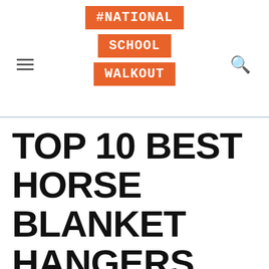#NATIONAL SCHOOL WALKOUT
TOP 10 BEST HORSE BLANKET HANGERS REVIEWS COMPARISON